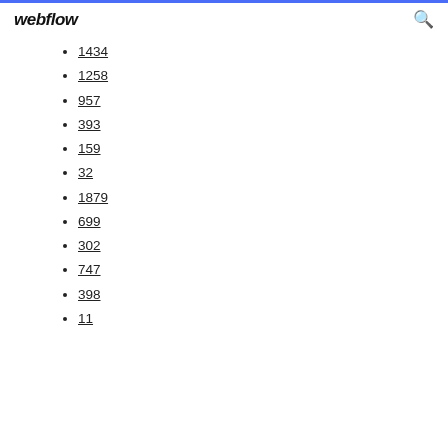webflow
1434
1258
957
393
159
32
1879
699
302
747
398
11